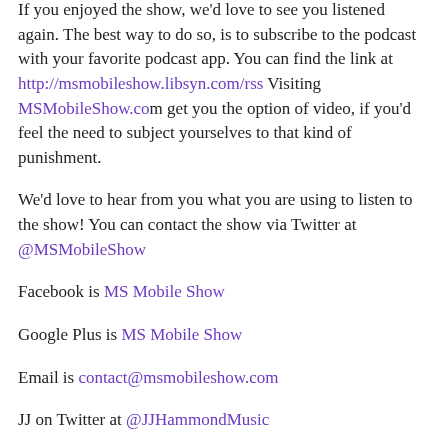If you enjoyed the show, we'd love to see you listened again. The best way to do so, is to subscribe to the podcast with your favorite podcast app. You can find the link at http://msmobileshow.libsyn.com/rss Visiting MSMobileShow.com get you the option of video, if you'd feel the need to subject yourselves to that kind of punishment.
We'd love to hear from you what you are using to listen to the show! You can contact the show via Twitter at @MSMobileShow
Facebook is MS Mobile Show
Google Plus is MS Mobile Show
Email is contact@msmobileshow.com
JJ on Twitter at @JJHammondMusic
You can reach Yourname on Twitter at @YournamEl...